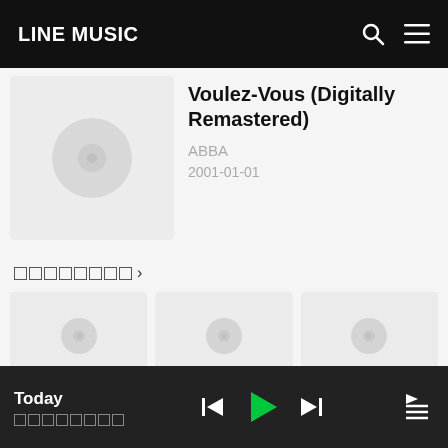LINE MUSIC
[Figure (illustration): Album art placeholder with circular disc icon on light grey background]
Voulez-Vous (Digitally Remastered)
ABBA
2001-01-01
□□□□□□□□ >
[Figure (illustration): Three thumbnail album art placeholders in a row]
Today | □□□□□□□□ | playback controls